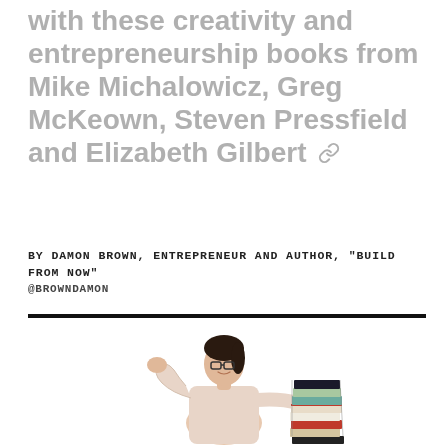with these creativity and entrepreneurship books from Mike Michalowicz, Greg McKeown, Steven Pressfield and Elizabeth Gilbert 🔗
BY DAMON BROWN, ENTREPRENEUR AND AUTHOR, "BUILD FROM NOW"
@BROWNDAMON
[Figure (photo): Woman with glasses in a light pink cardigan, flexing her right arm and holding a large stack of colorful books on her left hand, smiling, on a white background.]